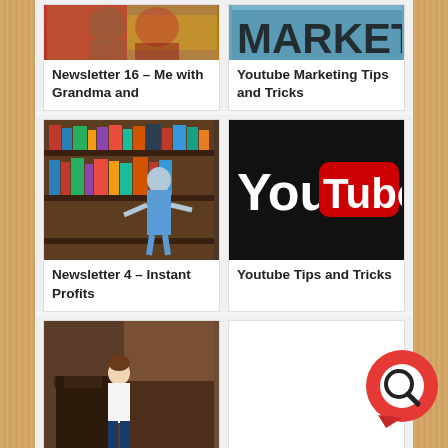[Figure (photo): Cropped top of photo — person with grandma]
Newsletter 16 – Me with Grandma and
[Figure (photo): Cropped top of marketing book cover with text MARKETIN]
Youtube Marketing Tips and Tricks
[Figure (photo): Child browsing books on a bookshelf]
Newsletter 4 – Instant Profits
[Figure (photo): YouTube logo on dark background — red play button with 'youTube' text]
Youtube Tips and Tricks
[Figure (photo): Child standing near ornate chair by fireplace]
Newsletter 14 – Me in Bellaria, Snap